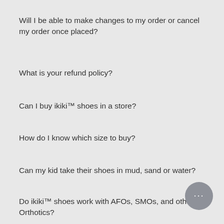Will I be able to make changes to my order or cancel my order once placed?
What is your refund policy?
Can I buy ikiki™ shoes in a store?
How do I know which size to buy?
Can my kid take their shoes in mud, sand or water?
Do ikiki™ shoes work with AFOs, SMOs, and other Orthotics?
Do I qualify for any discounts, and how do apply them